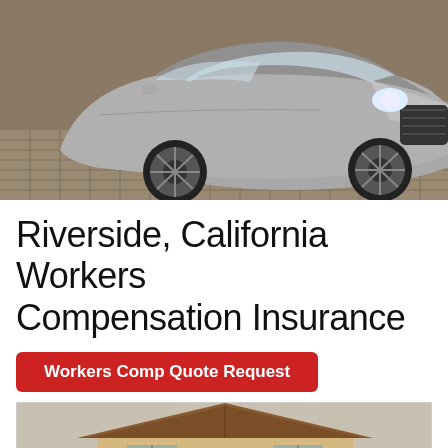[Figure (photo): Silver luxury sports car (Aston Martin) photographed from front-right angle on brick/stone pavement surface]
Riverside, California Workers Compensation Insurance
Workers Comp Quote Request
[Figure (photo): House/barn with triangular wooden roof structure, light beige exterior, photographed from the front]